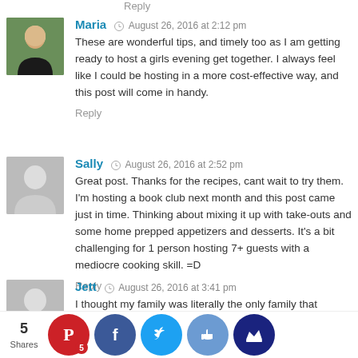Reply
Maria  August 26, 2016 at 2:12 pm
These are wonderful tips, and timely too as I am getting ready to host a girls evening get together. I always feel like I could be hosting in a more cost-effective way, and this post will come in handy.
Reply
Sally  August 26, 2016 at 2:52 pm
Great post. Thanks for the recipes, cant wait to try them. I'm hosting a book club next month and this post came just in time. Thinking about mixing it up with take-outs and some home prepped appetizers and desserts. It's a bit challenging for 1 person hosting 7+ guests with a mediocre cooking skill. =D
Reply
Jett  August 26, 2016 at 3:41 pm
I thought my family was literally the only family that played Canasta! Wow!
Reply
5 Shares